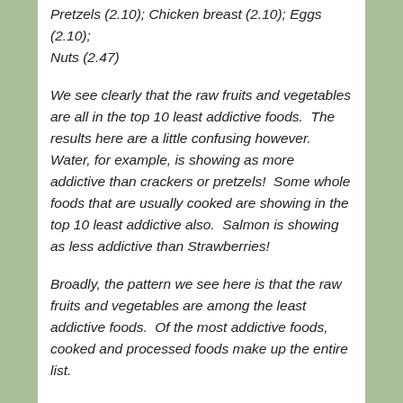Pretzels (2.10); Chicken breast (2.10); Eggs (2.10); Nuts (2.47)
We see clearly that the raw fruits and vegetables are all in the top 10 least addictive foods.  The results here are a little confusing however.  Water, for example, is showing as more addictive than crackers or pretzels!  Some whole foods that are usually cooked are showing in the top 10 least addictive also.  Salmon is showing as less addictive than Strawberries!
Broadly, the pattern we see here is that the raw fruits and vegetables are among the least addictive foods.  Of the most addictive foods, cooked and processed foods make up the entire list.